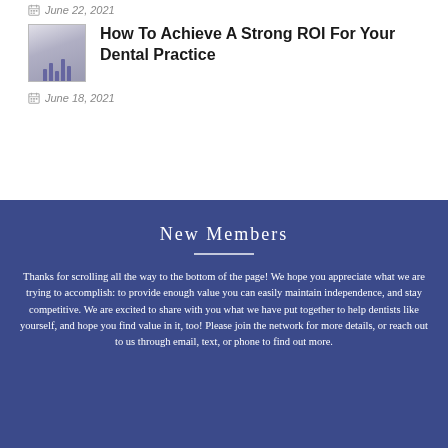June 22, 2021
[Figure (photo): Small thumbnail image showing stacked coins or bar chart graphic related to dental practice ROI]
How To Achieve A Strong ROI For Your Dental Practice
June 18, 2021
New Members
Thanks for scrolling all the way to the bottom of the page! We hope you appreciate what we are trying to accomplish: to provide enough value you can easily maintain independence, and stay competitive. We are excited to share with you what we have put together to help dentists like yourself, and hope you find value in it, too! Please join the network for more details, or reach out to us through email, text, or phone to find out more.